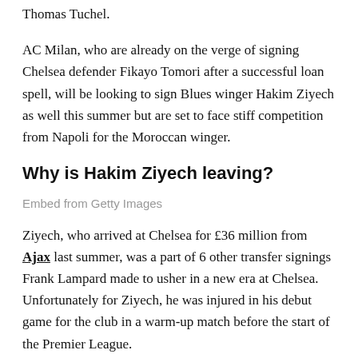Thomas Tuchel.
AC Milan, who are already on the verge of signing Chelsea defender Fikayo Tomori after a successful loan spell, will be looking to sign Blues winger Hakim Ziyech as well this summer but are set to face stiff competition from Napoli for the Moroccan winger.
Why is Hakim Ziyech leaving?
Embed from Getty Images
Ziyech, who arrived at Chelsea for £36 million from Ajax last summer, was a part of 6 other transfer signings Frank Lampard made to usher in a new era at Chelsea. Unfortunately for Ziyech, he was injured in his debut game for the club in a warm-up match before the start of the Premier League.